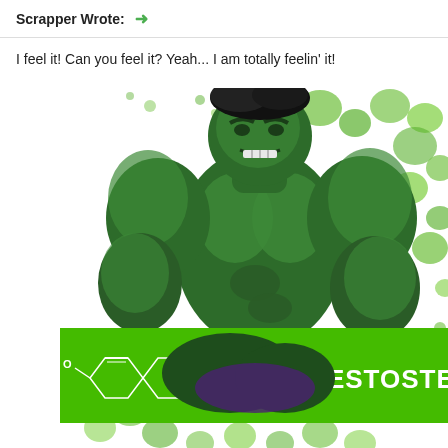Scrapper Wrote: →
I feel it! Can you feel it? Yeah... I am totally feelin' it!
[Figure (illustration): Comic-style illustration of the Hulk (green muscular character) in a flexing pose, surrounded by green splatter/bubble effects on white background. A bright green banner overlays the lower portion showing a testosterone molecule chemical structure diagram with labels 'OH', 'H', 'O' and the text 'TESTOSTER' (cut off at right edge) in bold white letters.]